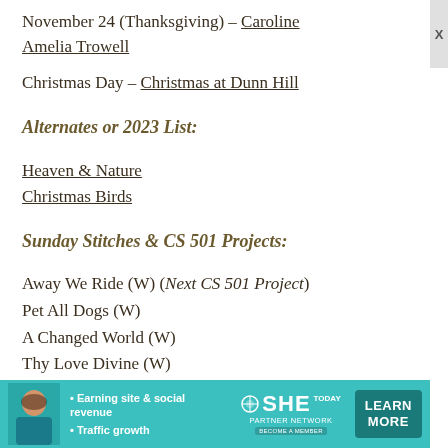November 24 (Thanksgiving) – Caroline Amelia Trowell
Christmas Day – Christmas at Dunn Hill
Alternates or 2023 List:
Heaven & Nature
Christmas Birds
Sunday Stitches & CS 501 Projects:
Away We Ride (W) (Next CS 501 Project)
Pet All Dogs (W)
A Changed World (W)
Thy Love Divine (W)
Cranberry Christmas (Next Sunday Project)
[Figure (infographic): SHE Partner Network advertisement banner with photo of woman, bullet points 'Earning site & social revenue' and 'Traffic growth', SHE PARTNER NETWORK BECOME A MEMBER logo, and LEARN MORE button]